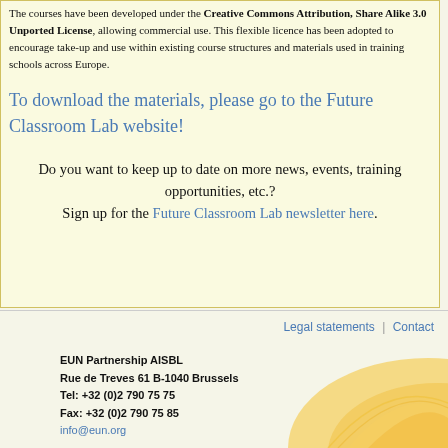The courses have been developed under the Creative Commons Attribution, Share Alike 3.0 Unported License, allowing commercial use. This flexible licence has been adopted to encourage take-up and use within existing course structures and materials used in training schools across Europe.
To download the materials, please go to the Future Classroom Lab website!
Do you want to keep up to date on more news, events, training opportunities, etc.? Sign up for the Future Classroom Lab newsletter here.
Legal statements  |  Contact
EUN Partnership AISBL
Rue de Treves 61 B-1040 Brussels
Tel: +32 (0)2 790 75 75
Fax: +32 (0)2 790 75 85
info@eun.org